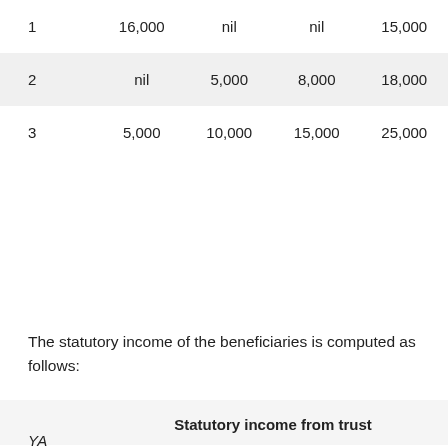| 1 | 16,000 | nil | nil | 15,000 |
| 2 | nil | 5,000 | 8,000 | 18,000 |
| 3 | 5,000 | 10,000 | 15,000 | 25,000 |
The statutory income of the beneficiaries is computed as follows:
| Statutory income from trust |
| --- |
| YA |  |  |  | A |